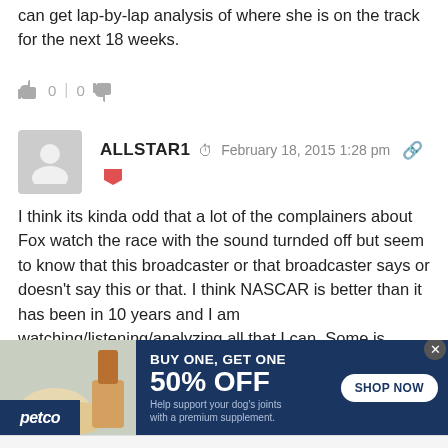can get lap-by-lap analysis of where she is on the track for the next 18 weeks.
0 | 0
ALLSTAR1  February 18, 2015 1:28 pm
I think its kinda odd that a lot of the complainers about Fox watch the race with the sound turnded off but seem to know that this broadcaster or that broadcaster says or doesn't say this or that. I think NASCAR is better than it has been in 10 years and I am watching/listening/analyzing all that I can. Some is great, some is off base but it the sum total is outstanding.
[Figure (infographic): Petco advertisement banner: BUY ONE, GET ONE 50% OFF. Help support your dog's joints with a premium supplement. SHOP NOW button.]